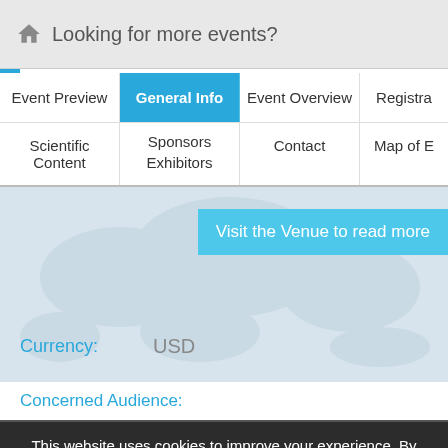Looking for more events?
Event Preview
General Info
Event Overview
Registra...
Scientific Content
Sponsors Exhibitors
Contact
Map of E...
[Figure (map): Faint world/regional map background with a light blue venue button overlay reading 'Visit the Venue to read more']
Currency: USD
Concerned Audience:
This website uses cookies to improve your experience. By continuing to use this website you are giving consent to cookies being used. For more information about what we use cookies for, click "Read More".
Accept   Read More